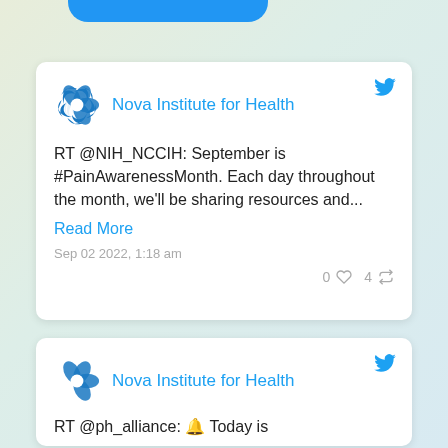[Figure (screenshot): Partial blue button cropped at top of page]
Nova Institute for Health — RT @NIH_NCCIH: September is #PainAwarenessMonth. Each day throughout the month, we'll be sharing resources and... Read More — Sep 02 2022, 1:18 am — 0 likes 4 retweets
Nova Institute for Health — RT @ph_alliance: 🔔 Today is